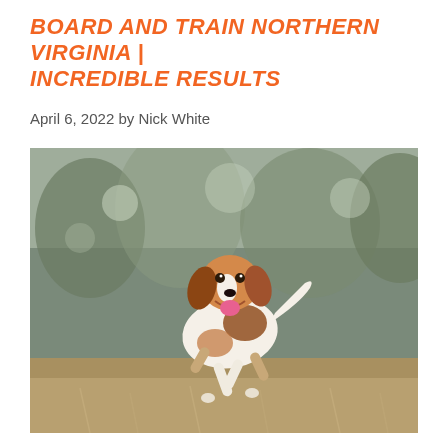BOARD AND TRAIN NORTHERN VIRGINIA | INCREDIBLE RESULTS
April 6, 2022 by Nick White
[Figure (photo): A happy brown and white spaniel dog running toward the camera on a grassy field with a blurred tree background. The dog has its mouth open, tongue out, and appears joyful.]